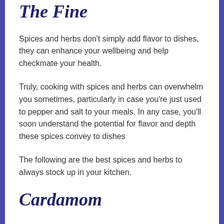The Fine
Spices and herbs don't simply add flavor to dishes, they can enhance your wellbeing and help checkmate your health.
Truly, cooking with spices and herbs can overwhelm you sometimes, particularly in case you're just used to pepper and salt to your meals. In any case, you'll soon understand the potential for flavor and depth these spices convey to dishes
The following are the best spices and herbs to always stock up in your kitchen.
Cardamom